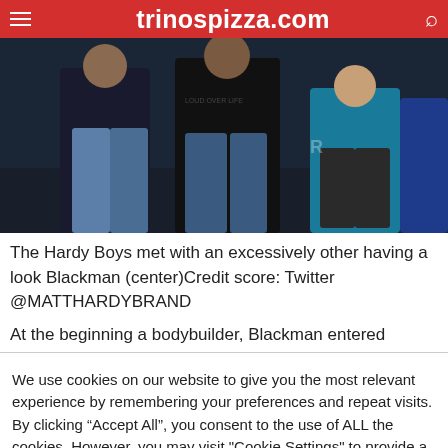trinospizza.com
[Figure (photo): Three people standing together, two in dark shirts and one in a teal/cyan shirt, appear to be at an event or meeting.]
The Hardy Boys met with an excessively other having a look Blackman (center)Credit score: Twitter @MATTHARDYBRAND
At the beginning a bodybuilder, Blackman entered
We use cookies on our website to give you the most relevant experience by remembering your preferences and repeat visits. By clicking “Accept All”, you consent to the use of ALL the cookies. However, you may visit "Cookie Settings" to provide a controlled consent.